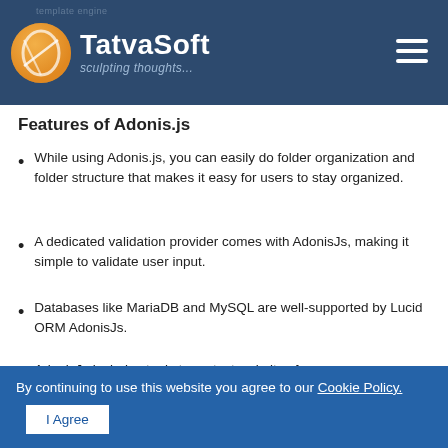TatvaSoft — sculpting thoughts...
Features of Adonis.js
While using Adonis.js, you can easily do folder organization and folder structure that makes it easy for users to stay organized.
A dedicated validation provider comes with AdonisJs, making it simple to validate user input.
Databases like MariaDB and MySQL are well-supported by Lucid ORM AdonisJs.
AdonisJs includes tools to protect websites from ... site forgery
...manual testing and allows developers to write functional unit tests
By continuing to use this website you agree to our Cookie Policy. | I Agree